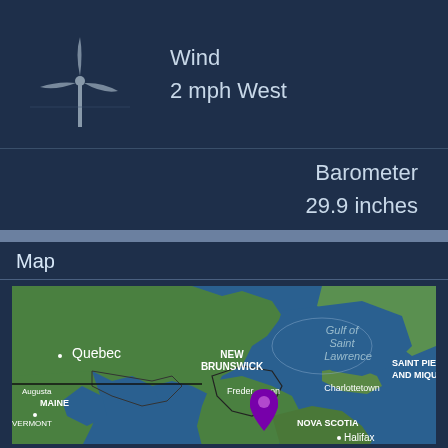Wind
2 mph West
Barometer
29.9 inches
Map
[Figure (map): Satellite map showing eastern Canada and northeastern US, including Quebec, New Brunswick, Nova Scotia, Maine, and surrounding maritime region including Gulf of Saint Lawrence. A purple location pin is placed near Fredericton, New Brunswick. Labels include: Quebec, NEW BRUNSWICK, Charlottetown, Fredericton, NOVA SCOTIA, Halifax, MAINE, Augusta, VERMONT, NEW HAMPSHIRE, SSACHUSETTS, SAINT PIE AND MIQU, Gulf of Saint Lawrence. Bottom left shows 'Satellite' label.]